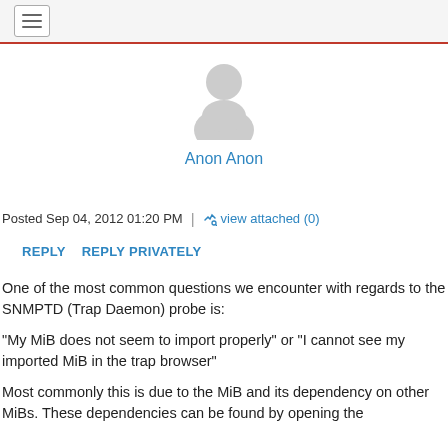[Figure (screenshot): Hamburger menu icon button in top navigation bar]
[Figure (photo): Generic anonymous user avatar silhouette in grey]
Anon Anon
Posted Sep 04, 2012 01:20 PM  |  view attached (0)
REPLY   REPLY PRIVATELY
One of the most common questions we encounter with regards to the SNMPTD (Trap Daemon) probe is:
"My MiB does not seem to import properly" or "I cannot see my imported MiB in the trap browser"
Most commonly this is due to the MiB and its dependency on other MiBs. These dependencies can be found by opening the